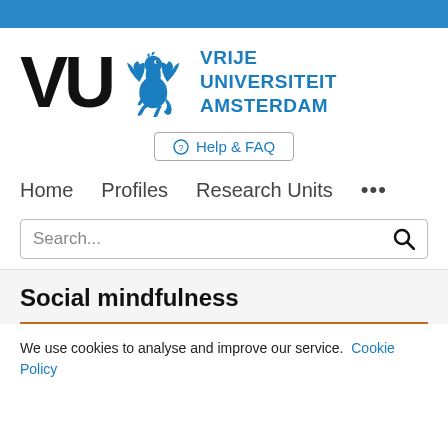[Figure (logo): Vrije Universiteit Amsterdam logo with VU letters, griffin, and university name in blue]
Help & FAQ
Home   Profiles   Research Units   ...
Search...
Social mindfulness
We use cookies to analyse and improve our service. Cookie Policy